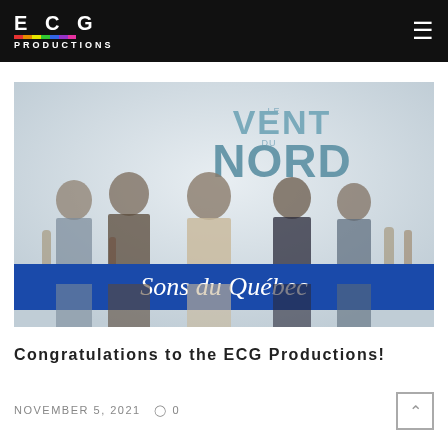ECG PRODUCTIONS
[Figure (photo): Promotional photo of Le Vent du Nord band members holding instruments, with the album title 'Sons du Québec' displayed on a blue banner across the image.]
Congratulations to the ECG Productions!
NOVEMBER 5, 2021  ○ 0